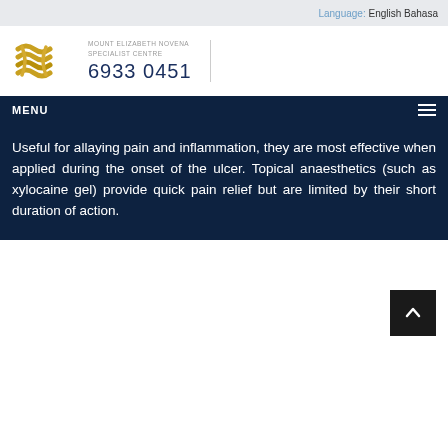Language: English Bahasa
[Figure (logo): Mount Elizabeth Novena Specialist Centre logo - stylized double helix or intertwined golden ribbons]
MOUNT ELIZABETH NOVENA SPECIALIST CENTRE
6933 0451
MENU
Useful for allaying pain and inflammation, they are most effective when applied during the onset of the ulcer. Topical anaesthetics (such as xylocaine gel) provide quick pain relief but are limited by their short duration of action.